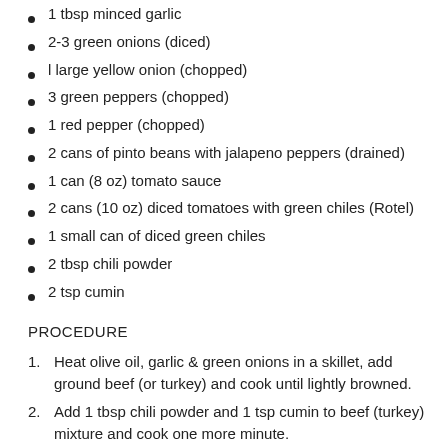1 tbsp minced garlic
2-3 green onions (diced)
l large yellow onion (chopped)
3 green peppers (chopped)
1 red pepper (chopped)
2 cans of pinto beans with jalapeno peppers (drained)
1 can (8 oz) tomato sauce
2 cans (10 oz) diced tomatoes with green chiles (Rotel)
1 small can of diced green chiles
2 tbsp chili powder
2 tsp cumin
PROCEDURE
Heat olive oil, garlic & green onions in a skillet, add ground beef (or turkey) and cook until lightly browned.
Add 1 tbsp chili powder and 1 tsp cumin to beef (turkey) mixture and cook one more minute.
In the crockpot, mix the pinto beans, tomato sauce, diced